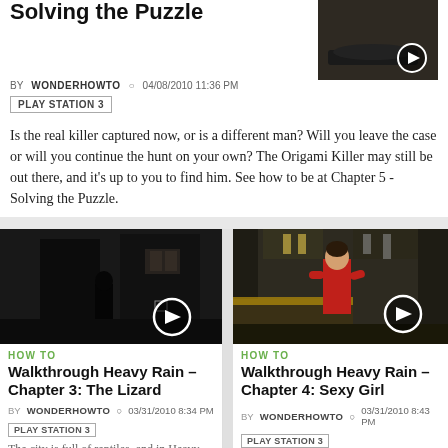Solving the Puzzle
BY WONDERHOWTO   04/08/2010 11:36 PM
PLAY STATION 3
Is the real killer captured now, or is a different man? Will you leave the case or will you continue the hunt on your own? The Origami Killer may still be out there, and it's up to you to find him. See how to be at Chapter 5 - Solving the Puzzle.
[Figure (screenshot): Dark game scene thumbnail with play button]
[Figure (screenshot): Heavy Rain Chapter 3 - dark alley scene with silhouette of person, play button overlay]
[Figure (screenshot): Heavy Rain Chapter 4 - club scene with girl in red, play button overlay]
HOW TO
Walkthrough Heavy Rain – Chapter 3: The Lizard
BY WONDERHOWTO   03/31/2010 8:34 PM
PLAY STATION 3
The city is full of reptiles, and in Heavy Rain, the lizard is the most
HOW TO
Walkthrough Heavy Rain – Chapter 4: Sexy Girl
BY WONDERHOWTO   03/31/2010 8:43 PM
PLAY STATION 3
Back at the club, you meet a sexy girl, but is that a good thing or a bad thing?